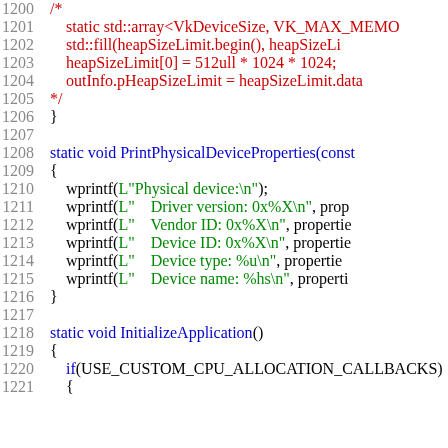Source code listing lines 1200-1221, C++ code with syntax highlighting showing commented-out memory allocation code followed by PrintPhysicalDeviceProperties and InitializeApplication static void functions